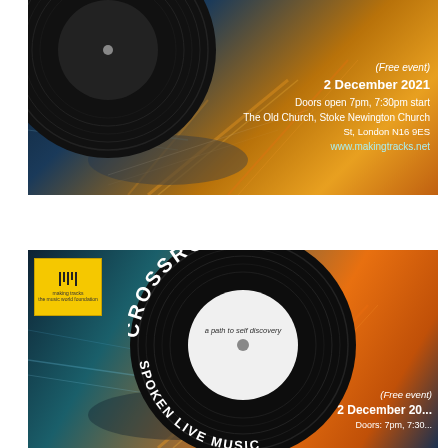[Figure (illustration): Event flyer for Crossroads spoken word and live music night. Top portion shows aerial highway interchange with vinyl record overlay. Text reads: (Free event), 2 December 2021, Doors open 7pm, 7:30pm start, The Old Church, Stoke Newington Church St, London N16 9ES, www.makingtracks.net]
[Figure (illustration): Second event flyer (full version) for Crossroads spoken word and live music night. Shows aerial highway interchange with large vinyl record labeled CROSSROADS / a path to self discovery / SPOKEN WORD & LIVE MUSIC. Making Tracks logo in top left corner. Partial text visible: (Free event), 2 December 20...]